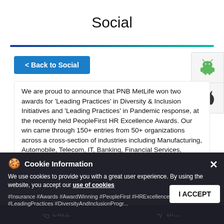Social
[Figure (screenshot): Horizontal gradient line from dark blue to teal/green]
< Back to Social
[Figure (illustration): Android robot icon in green on light gray panel]
[Figure (illustration): Apple logo icon in dark gray on light gray panel]
We are proud to announce that PNB MetLife won two awards for 'Leading Practices' in Diversity & Inclusion Initiatives and 'Leading Practices' in Pandemic response, at the recently held PeopleFirst HR Excellence Awards. Our win came through 150+ entries from 50+ organizations across a cross-section of industries including Manufacturing, Automobile, Telecom, IT, Banking, Financial Services, Insurance Hospitality. We would like to thank each member of the PNB MetLife Team for their contribution to this success. Disclaimer: http://pnbmetlife.com/x.html #Insurance #Awards #AwardWinning #PeopleFirst #HRExcellence #2021 #LeadingPractices #DiversityAndInclusionProgr...
Cookie Information
We use cookies to provide you with a great user experience. By using the website, you accept our use of cookies
I ACCEPT
CALL    DIRECTIONS